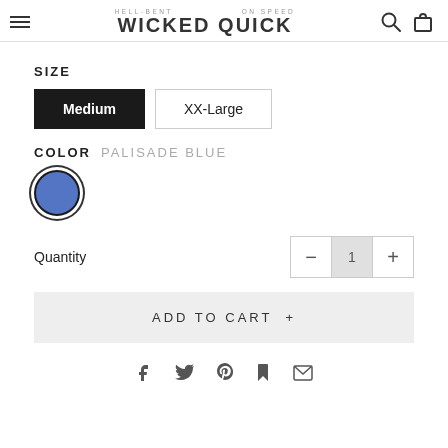Wicked Quick - Hell-Bent On Speed
SIZE
Medium  XX-Large
COLOR  PALISADE BLUE
[Figure (illustration): Blue color swatch circle, selected state with dark border ring]
Quantity  1
ADD TO CART +
[Figure (illustration): Social share icons: Facebook, Twitter, Pinterest, Fancy, Email]